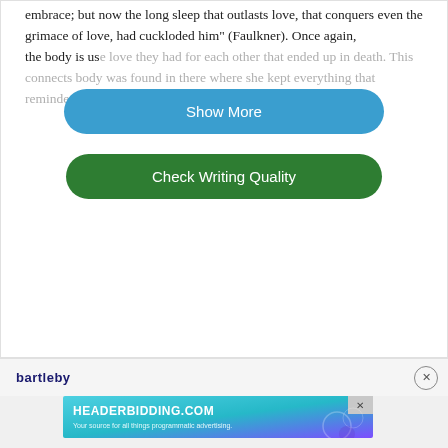embrace; but now the long sleep that outlasts love, that conquers even the grimace of love, had cuckloded him" (Faulkner). Once again, the body is us... [Show More] ...e love they had for each other that ended up in death. This connects ... [Check Writing Quality] ...body was found in there where she kept everything that reminded her of that night, including...
[Figure (other): Blue pill-shaped 'Show More' button overlaid on faded text]
[Figure (other): Green pill-shaped 'Check Writing Quality' button overlaid on faded text]
bartleby
[Figure (other): Advertisement banner: HEADERBIDDING.COM — Your source for all things programmatic advertising.]